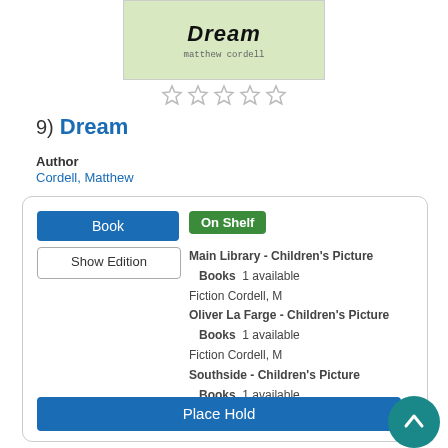[Figure (illustration): Book cover for 'Dream' by Matthew Cordell, light green background with cursive title and monospace author name]
[Figure (other): Five empty star rating icons]
9) Dream
Author
Cordell, Matthew
Book
Show Edition
On Shelf
Main Library - Children's Picture Books  1 available
Fiction Cordell, M
Oliver La Farge - Children's Picture Books  1 available
Fiction Cordell, M
Southside - Children's Picture Books  1 available
Fiction Cordell, M
Place Hold
Description
Read Description
More Info
Add to list